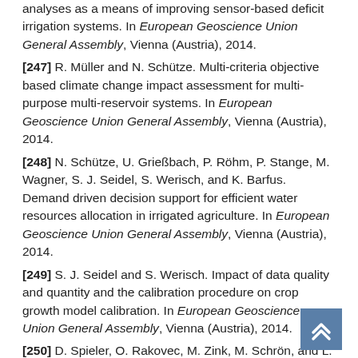analyses as a means of improving sensor-based deficit irrigation systems. In European Geoscience Union General Assembly, Vienna (Austria), 2014.
[247] R. Müller and N. Schütze. Multi-criteria objective based climate change impact assessment for multi-purpose multi-reservoir systems. In European Geoscience Union General Assembly, Vienna (Austria), 2014.
[248] N. Schütze, U. Grießbach, P. Röhm, P. Stange, M. Wagner, S. J. Seidel, S. Werisch, and K. Barfus. Demand driven decision support for efficient water resources allocation in irrigated agriculture. In European Geoscience Union General Assembly, Vienna (Austria), 2014.
[249] S. J. Seidel and S. Werisch. Impact of data quality and quantity and the calibration procedure on crop growth model calibration. In European Geoscience Union General Assembly, Vienna (Austria), 2014.
[250] D. Spieler, O. Rakovec, M. Zink, M. Schrön, and L. Samaniego. Assimilation of soil moisture on multiple